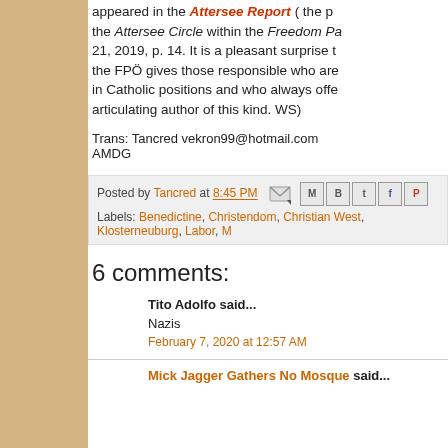appeared in the Attersee Report ( the p... the Attersee Circle within the Freedom Pa... 21, 2019, p. 14. It is a pleasant surprise t... the FPÖ gives those responsible who are... in Catholic positions and who always offe... articulating author of this kind. WS)
Trans: Tancred vekron99@hotmail.com
AMDG
Posted by Tancred at 8:45 PM
Labels: Benedictine, Christendom, Christian West, Klosterneuburg, Labor, M...
6 comments:
Tito Adolfo said...
Nazis
February 7, 2020 at 12:57 AM
Mick Jagger Gathers No Mosque said...